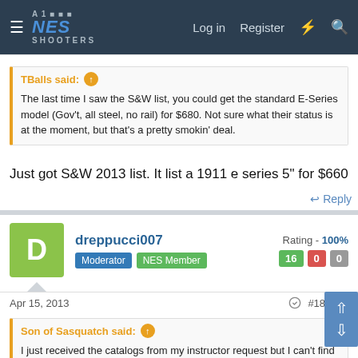NES SHOOTERS — Log in  Register
TBalls said: The last time I saw the S&W list, you could get the standard E-Series model (Gov't, all steel, no rail) for $680. Not sure what their status is at the moment, but that's a pretty smokin' deal.
Just got S&W 2013 list. It list a 1911 e series 5" for $660
↩ Reply
dreppucci007  Moderator  NES Member  Rating - 100%  16  0  0
Apr 15, 2013  #184228
Son of Sasquatch said: I just received the catalogs from my instructor request but I can't find